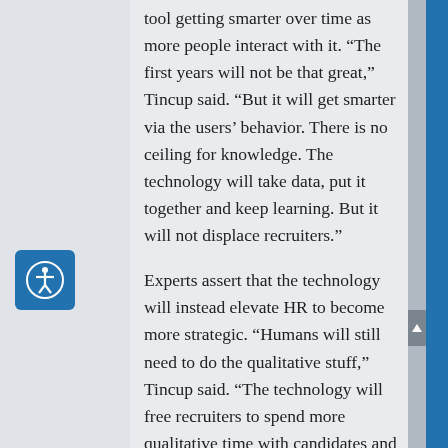tool getting smarter over time as more people interact with it. “The first years will not be that great,” Tincup said. “But it will get smarter via the users’ behavior. There is no ceiling for knowledge. The technology will take data, put it together and keep learning. But it will not displace recruiters.”
Experts assert that the technology will instead elevate HR to become more strategic. “Humans will still need to do the qualitative stuff,” Tincup said. “The technology will free recruiters to spend more qualitative time with candidates and hiring managers. Robots will not